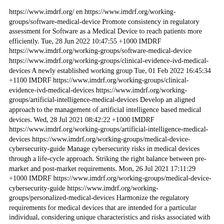https://www.imdrf.org/ en https://www.imdrf.org/working-groups/software-medical-device Promote consistency in regulatory assessment for Software as a Medical Device to reach patients more efficiently. Tue, 28 Jun 2022 10:47:55 +1000 IMDRF https://www.imdrf.org/working-groups/software-medical-device https://www.imdrf.org/working-groups/clinical-evidence-ivd-medical-devices A newly established working group Tue, 01 Feb 2022 16:45:34 +1100 IMDRF https://www.imdrf.org/working-groups/clinical-evidence-ivd-medical-devices https://www.imdrf.org/working-groups/artificial-intelligence-medical-devices Develop an aligned approach to the management of artificial intelligence based medical devices. Wed, 28 Jul 2021 08:42:22 +1000 IMDRF https://www.imdrf.org/working-groups/artificial-intelligence-medical-devices https://www.imdrf.org/working-groups/medical-device-cybersecurity-guide Manage cybersecurity risks in medical devices through a life-cycle approach. Striking the right balance between pre-market and post-market requirements. Mon, 26 Jul 2021 17:11:29 +1000 IMDRF https://www.imdrf.org/working-groups/medical-device-cybersecurity-guide https://www.imdrf.org/working-groups/personalized-medical-devices Harmonize the regulatory requirements for medical devices that are intended for a particular individual, considering unique characteristics and risks associated with each type of device. Thu, 22 Jul 2021 17:22:09 +1000 IMDRF